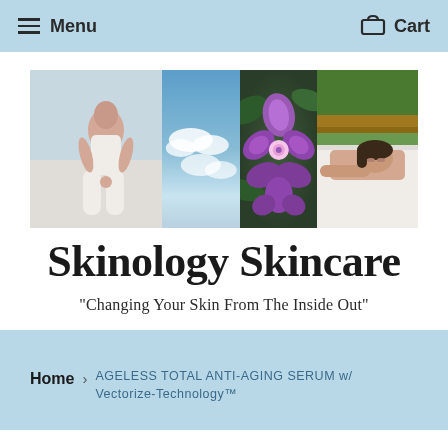Menu   Cart
[Figure (photo): Four-panel image strip: (1) woman in white doing yoga meditation from behind, (2) blue sky with clouds, (3) purple orchid flower close-up, (4) woman lying on spa bed outdoors]
Skinology Skincare
"Changing Your Skin From The Inside Out"
Home › AGELESS TOTAL ANTI-AGING SERUM w/ Vectorize-Technology™